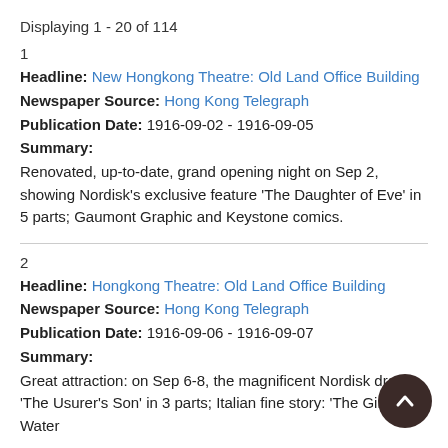Displaying 1 - 20 of 114
1
Headline: New Hongkong Theatre: Old Land Office Building
Newspaper Source: Hong Kong Telegraph
Publication Date: 1916-09-02 - 1916-09-05
Summary:
Renovated, up-to-date, grand opening night on Sep 2, showing Nordisk's exclusive feature 'The Daughter of Eve' in 5 parts; Gaumont Graphic and Keystone comics.
2
Headline: Hongkong Theatre: Old Land Office Building
Newspaper Source: Hong Kong Telegraph
Publication Date: 1916-09-06 - 1916-09-07
Summary:
Great attraction: on Sep 6-8, the magnificent Nordisk drama 'The Usurer's Son' in 3 parts; Italian fine story: 'The Girl of the Water'...